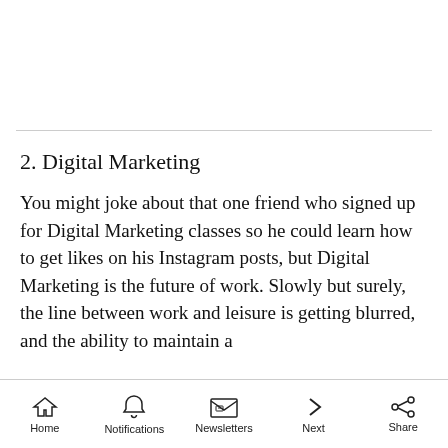2. Digital Marketing
You might joke about that one friend who signed up for Digital Marketing classes so he could learn how to get likes on his Instagram posts, but Digital Marketing is the future of work. Slowly but surely, the line between work and leisure is getting blurred, and the ability to maintain a
Home  Notifications  Newsletters  Next  Share